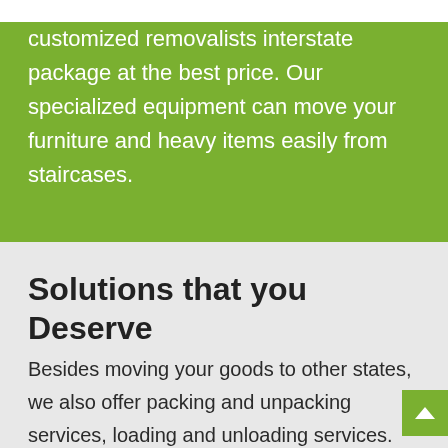customized removalists interstate package at the best price. Our specialized equipment can move your furniture and heavy items easily from staircases.
Solutions that you Deserve
Besides moving your goods to other states, we also offer packing and unpacking services, loading and unloading services. We can customize our Sydney to Ararat move as per the requirement of the client. We can also do unpacking and assembling of your furniture. Our staff will resolve all your queries to make